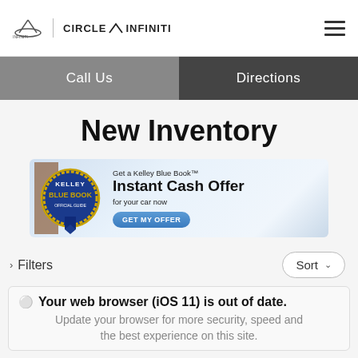[Figure (logo): Infiniti and Circle Infiniti dealership logo with hamburger menu icon]
Call Us | Directions
New Inventory
[Figure (infographic): Kelley Blue Book Instant Cash Offer advertisement banner with KBB badge logo, text 'Get a Kelley Blue Book Instant Cash Offer for your car now' and 'GET MY OFFER' button]
> Filters    Sort v
Your web browser (iOS 11) is out of date. Update your browser for more security, speed and the best experience on this site.